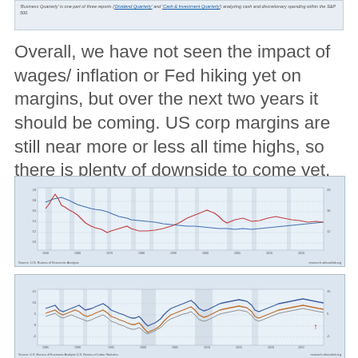[Figure (screenshot): Partial screenshot of a document page showing italic text with blue hyperlinks referencing 'Dividend Quarterly' and 'Cash & Investment Quarterly' relating to cash and discretionary spending within the S&P 500.]
Overall, we have not seen the impact of wages/ inflation or Fed hiking yet on margins, but over the next two years it should be coming. US corp margins are still near more or less all time highs, so there is plenty of downside to come yet.
[Figure (continuous-plot): FRED line chart showing US corporate profit margins over time, with two lines (one trending down from highs in the 1960s-70s, another showing more recent trends). Shaded recession bars visible. Y-axis shows percentage values. X-axis shows decades from approximately 1950s to 2020s.]
[Figure (continuous-plot): FRED line chart showing multiple lines (blue, red, orange) tracking corporate margin-related metrics over time from approximately 1980s to 2020s. A red arrow marker is visible at the right side. Shaded bars indicate recession periods.]